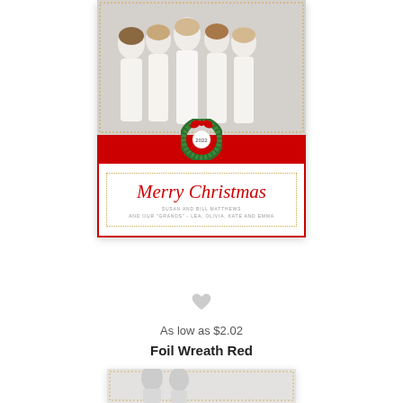[Figure (photo): Christmas card product image showing a vertical card. Top half: family photo of five girls in white dresses. Bottom half: red border with dotted gold inner frame, a Christmas wreath with red bow and '2022' dividing the two sections, and cursive 'Merry Christmas' in red script with small text 'Susan and Bill Matthews and our "grands" - Lea, Olivia, Kate and Emma'.]
[Figure (other): Gray heart icon (favorite/wishlist button)]
As low as $2.02
Foil Wreath Red
[Figure (photo): Partial preview of a second Christmas card product at the bottom of the page, showing only the top portion.]